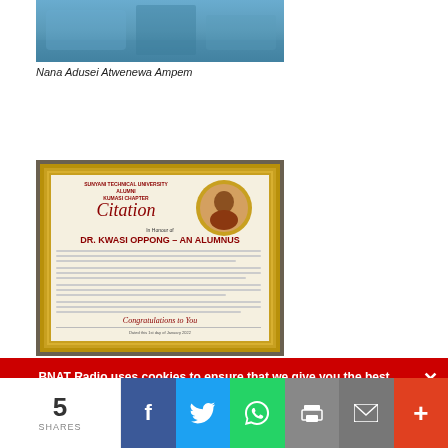[Figure (photo): Top portion of a photo showing a blurred outdoor scene with blue/teal tones]
Nana Adusei Atwenewa Ampem
[Figure (photo): A framed citation plaque from Sunyani Technical University Alumni Kumasi Chapter, awarded to DR. KWASI OPPONG - AN ALUMNUS, displayed in a gold ornate frame with the recipient's portrait photo in a circular frame at the top right]
BNAT Radio uses cookies to ensure that we give you the best experience on our website. If you continue to use this site we will assume that you are happy with it.
5 SHARES  [Facebook] [Twitter] [WhatsApp] [Print] [Email] [+]